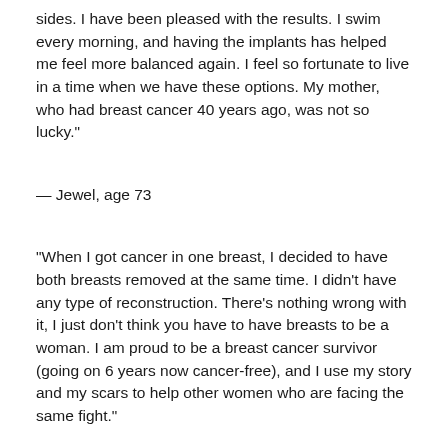sides. I have been pleased with the results. I swim every morning, and having the implants has helped me feel more balanced again. I feel so fortunate to live in a time when we have these options. My mother, who had breast cancer 40 years ago, was not so lucky."
— Jewel, age 73
"When I got cancer in one breast, I decided to have both breasts removed at the same time. I didn't have any type of reconstruction. There's nothing wrong with it, I just don't think you have to have breasts to be a woman. I am proud to be a breast cancer survivor (going on 6 years now cancer-free), and I use my story and my scars to help other women who are facing the same fight."
— Kerry-Ann, age 45